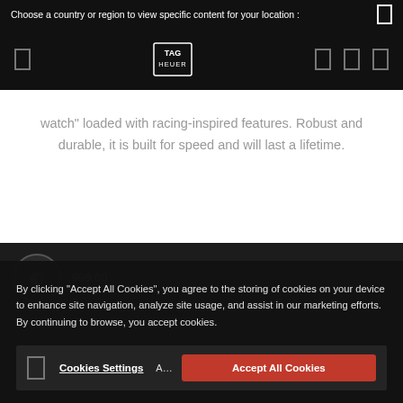Choose a country or region to view specific content for your location :
[Figure (logo): TAG Heuer logo in white on black navigation bar]
watch" loaded with racing-inspired features. Robust and durable, it is built for speed and will last a lifetime.
By clicking “Accept All Cookies”, you agree to the storing of cookies on your device to enhance site navigation, analyze site usage, and assist in our marketing efforts. By continuing to browse, you accept cookies.
Cookies Settings
Accept All Cookies